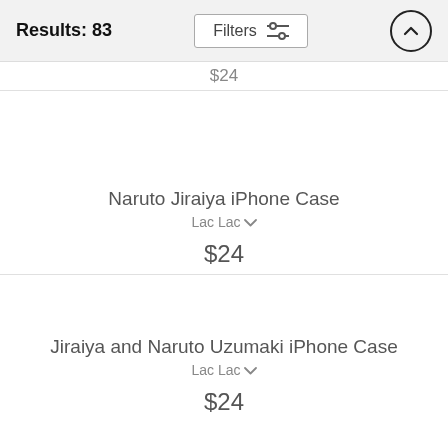Results: 83
$24
Naruto Jiraiya iPhone Case
Lac Lac
$24
Jiraiya and Naruto Uzumaki iPhone Case
Lac Lac
$24